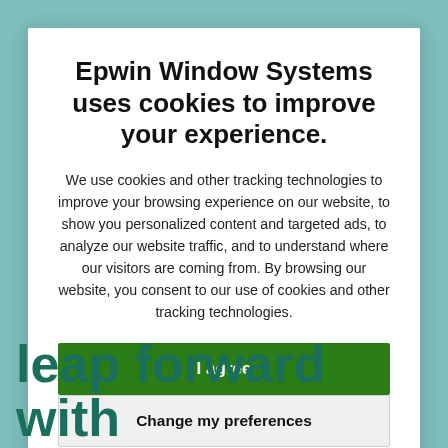Epwin Window Systems uses cookies to improve your experience.
We use cookies and other tracking technologies to improve your browsing experience on our website, to show you personalized content and targeted ads, to analyze our website traffic, and to understand where our visitors are coming from. By browsing our website, you consent to our use of cookies and other tracking technologies.
I agree
Change my preferences
leap forward with